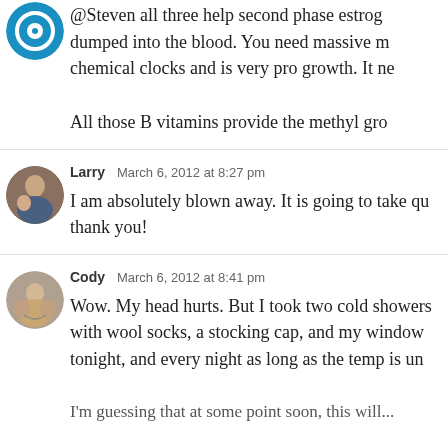@Steven all three help second phase estrog... dumped into the blood. You need massive... chemical clocks and is very pro growth. It ne...

All those B vitamins provide the methyl gro...
Larry  March 6, 2012 at 8:27 pm
I am absolutely blown away. It is going to take qu... thank you!
Cody  March 6, 2012 at 8:41 pm
Wow. My head hurts. But I took two cold showers... with wool socks, a stocking cap, and my window... tonight, and every night as long as the temp is un...
I'm guessing that at some point soon, this will...